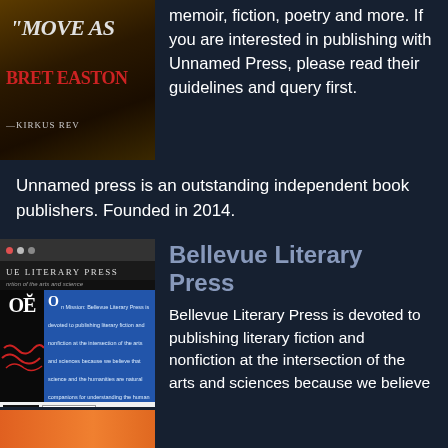[Figure (photo): Book cover showing text 'MOVE AS' and 'BRET EASTON' with Kirkus Reviews quote, dark background with bokeh lighting]
memoir, fiction, poetry and more. If you are interested in publishing with Unnamed Press, please read their guidelines and query first.
Unnamed press is an outstanding independent book publishers. Founded in 2014.
[Figure (screenshot): Screenshot of Bellevue Literary Press website showing header, a book cover with 'OË' text, blue content panel with text about the press, and bottom section showing 'AMERICAN' text]
Bellevue Literary Press
Bellevue Literary Press is devoted to publishing literary fiction and nonfiction at the intersection of the arts and sciences because we believe that science and the humanities
[Figure (photo): Partially visible book cover or image with orange/warm color at bottom of page]